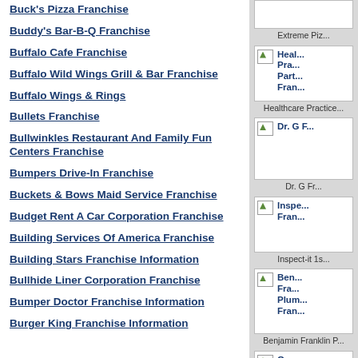Buck's Pizza Franchise
Buddy's Bar-B-Q Franchise
Buffalo Cafe Franchise
Buffalo Wild Wings Grill & Bar Franchise
Buffalo Wings & Rings
Bullets Franchise
Bullwinkles Restaurant And Family Fun Centers Franchise
Bumpers Drive-In Franchise
Buckets & Bows Maid Service Franchise
Budget Rent A Car Corporation Franchise
Building Services Of America Franchise
Building Stars Franchise Information
Bullhide Liner Corporation Franchise
Bumper Doctor Franchise Information
Burger King Franchise Information
[Figure (other): Extreme Pizza franchise thumbnail image and label]
[Figure (other): Healthcare Practice Partners Franchise thumbnail image and label]
[Figure (other): Dr. G Franchise thumbnail image and label]
[Figure (other): Inspect-it 1st Franchise thumbnail image and label]
[Figure (other): Benjamin Franklin Plumbing Franchise thumbnail image and label]
[Figure (other): Our Town America Franchise thumbnail image and label]